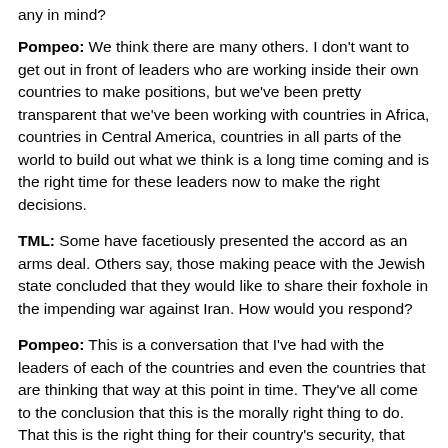any in mind?
Pompeo: We think there are many others. I don't want to get out in front of leaders who are working inside their own countries to make positions, but we've been pretty transparent that we've been working with countries in Africa, countries in Central America, countries in all parts of the world to build out what we think is a long time coming and is the right time for these leaders now to make the right decisions.
TML: Some have facetiously presented the accord as an arms deal. Others say, those making peace with the Jewish state concluded that they would like to share their foxhole in the impending war against Iran. How would you respond?
Pompeo: This is a conversation that I've had with the leaders of each of the countries and even the countries that are thinking that way at this point in time. They've all come to the conclusion that this is the morally right thing to do. That this is the right thing for their country's security, that this is the right thing for their country's economy, so it's not about any particular weapon system, it's not